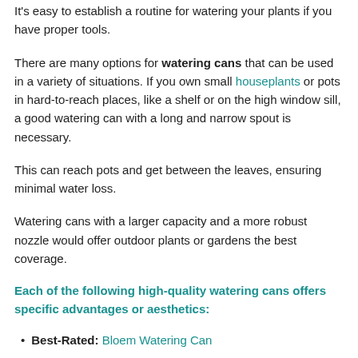It's easy to establish a routine for watering your plants if you have proper tools.
There are many options for watering cans that can be used in a variety of situations. If you own small houseplants or pots in hard-to-reach places, like a shelf or on the high window sill, a good watering can with a long and narrow spout is necessary.
This can reach pots and get between the leaves, ensuring minimal water loss.
Watering cans with a larger capacity and a more robust nozzle would offer outdoor plants or gardens the best coverage.
Each of the following high-quality watering cans offers specific advantages or aesthetics:
Best-Rated: Bloem Watering Can